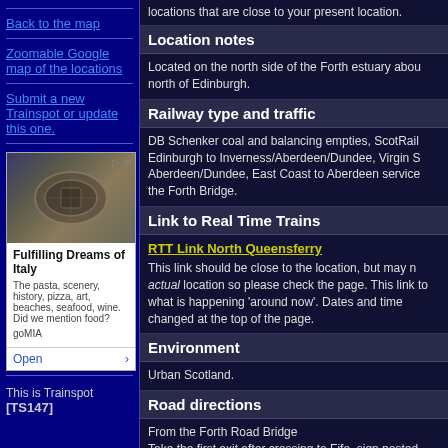locations that are close to your present location.
Back to the map
Zoomable Google map of the locations
Submit a new Trainspot or update this one.
[Figure (photo): Advertisement image showing Colosseum/Roman amphitheatre, ad for goMIA Italy travel]
Location notes
Located on the north side of the Forth estuary about north of Edinburgh.
Railway type and traffic
DB Schenker coal and balancing empties, ScotRail Edinburgh to Inverness/Aberdeen/Dundee, Virgin S Aberdeen/Dundee, East Coast to Aberdeen service the Forth Bridge.
Link to Real Time Trains
RTT Link North Queensferry
This link should be close to the location, but may not actual location so please check the page. This link to what is happening 'around now'. Dates and times changed at the top of the page.
Environment
Urban Scotland.
Road directions
From the Forth Road Bridge
Take the first exit after crossing to Fife, sign posted Queensferry and Rosyth. Do not take the North Qu
This is Trainspot [TS147]